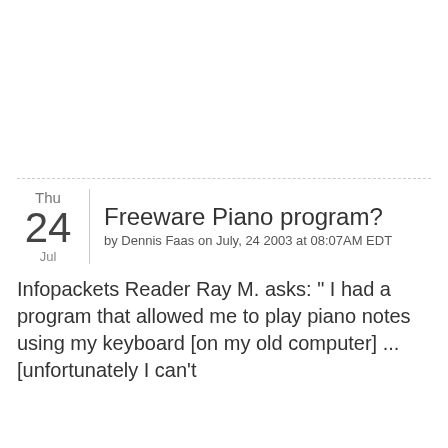Freeware Piano program?
by Dennis Faas on July, 24 2003 at 08:07AM EDT
Infopackets Reader Ray M. asks: " I had a program that allowed me to play piano notes using my keyboard [on my old computer] ... [unfortunately I can't